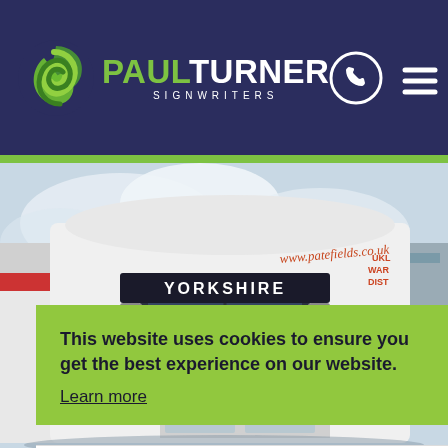[Figure (logo): Paul Turner Signwriters logo: green swirl icon with PAUL in green and TURNER in white, SIGNWRITERS in white spaced letters below]
[Figure (photo): A white delivery truck cab with YORKSHIRE text on the front visor, www.patefields.co.uk on the side, UK LOGISTICS WAREHOUSING DISTRIBUTION text partially visible on the right, cloudy sky background]
This website uses cookies to ensure you get the best experience on our website. Learn more
I agree
BRIAN PATEFIELDS LTD